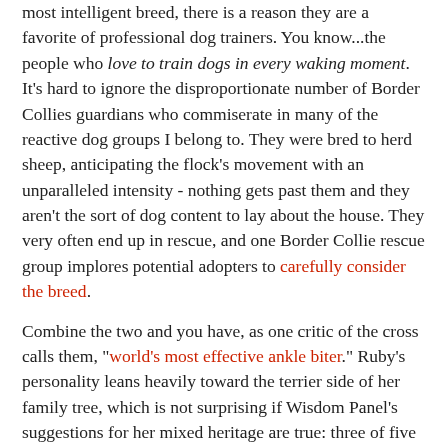most intelligent breed, there is a reason they are a favorite of professional dog trainers. You know...the people who love to train dogs in every waking moment. It's hard to ignore the disproportionate number of Border Collies guardians who commiserate in many of the reactive dog groups I belong to. They were bred to herd sheep, anticipating the flock's movement with an unparalleled intensity - nothing gets past them and they aren't the sort of dog content to lay about the house. They very often end up in rescue, and one Border Collie rescue group implores potential adopters to carefully consider the breed.
Combine the two and you have, as one critic of the cross calls them, "world's most effective ankle biter." Ruby's personality leans heavily toward the terrier side of her family tree, which is not surprising if Wisdom Panel's suggestions for her mixed heritage are true: three of five are other types of terrier. She would have been a nightmare for a family with children - before her bite inhibition improved I came away from games of tug with a bloodied finger on more than one occasion. She likes to goad me along at my heel like a collie with the extra encouragement of her terrier teeth if I'm not